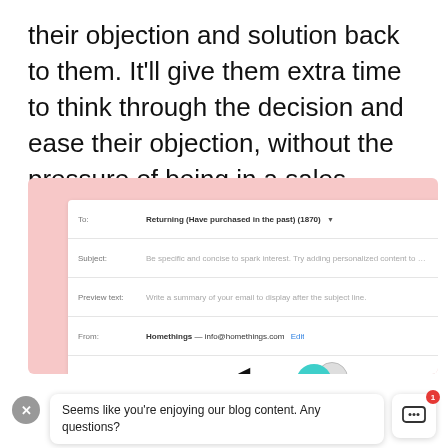their objection and solution back to them. It'll give them extra time to think through the decision and ease their objection, without the pressure of being in a sales environment.
[Figure (screenshot): Screenshot of an email marketing UI showing fields: To (Returning Have purchased in the past 1870), Subject (placeholder text), Preview text (placeholder text), From (Homethings — info@homethings.com Edit). Below the fields is a cursor icon and overlapping teal and gray circles with a red Save button.]
[Figure (screenshot): Chat widget popup showing a close (X) button, a speech bubble saying 'Seems like you're enjoying our blog content. Any questions?', and a chat icon button with a red badge showing 1.]